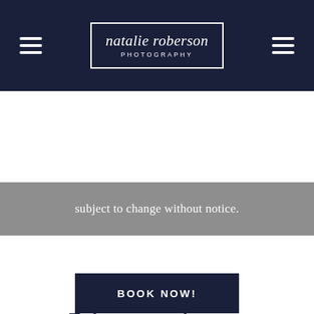natalie roberson PHOTOGRAPHY
subject to change without notice.
To learn more about our Senior Portrait Experience click the magazine.
BOOK NOW!